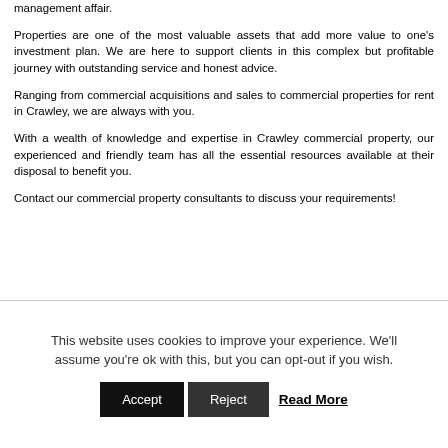management affair.
Properties are one of the most valuable assets that add more value to one's investment plan. We are here to support clients in this complex but profitable journey with outstanding service and honest advice.
Ranging from commercial acquisitions and sales to commercial properties for rent in Crawley, we are always with you.
With a wealth of knowledge and expertise in Crawley commercial property, our experienced and friendly team has all the essential resources available at their disposal to benefit you.
Contact our commercial property consultants to discuss your requirements!
This website uses cookies to improve your experience. We'll assume you're ok with this, but you can opt-out if you wish. Accept Reject Read More